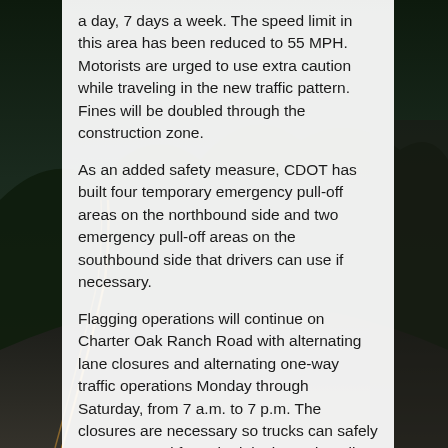[Figure (photo): Night highway photo with light trails visible, dark landscape background]
a day, 7 days a week. The speed limit in this area has been reduced to 55 MPH. Motorists are urged to use extra caution while traveling in the new traffic pattern. Fines will be doubled through the construction zone.
As an added safety measure, CDOT has built four temporary emergency pull-off areas on the northbound side and two emergency pull-off areas on the southbound side that drivers can use if necessary.
Flagging operations will continue on Charter Oak Ranch Road with alternating lane closures and alternating one-way traffic operations Monday through Saturday, from 7 a.m. to 7 p.m. The closures are necessary so trucks can safely access to and from the job site and to allow crews to perform paving operations.